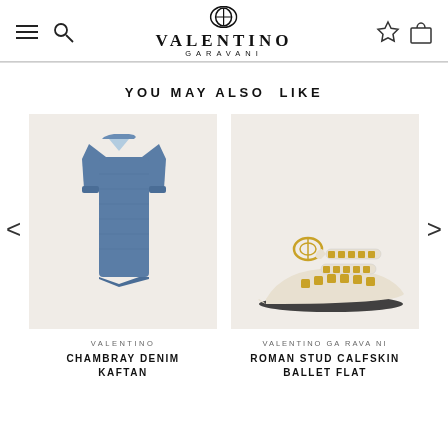VALENTINO GARAVANI
YOU MAY ALSO LIKE
[Figure (photo): Valentino Chambray Denim Kaftan — a blue denim oversized shirt-dress with wide lapels and long sleeves, displayed on a beige background.]
VALENTINO
CHAMBRAY DENIM KAFTAN
[Figure (photo): Valentino Garavani Roman Stud Calfskin Ballet Flat — a cream/ivory pointed-toe flat shoe with gold-tone Roman studs and ankle straps with a gold buckle, displayed on a beige background.]
VALENTINO GARAVANI
ROMAN STUD CALFSKIN BALLET FLAT